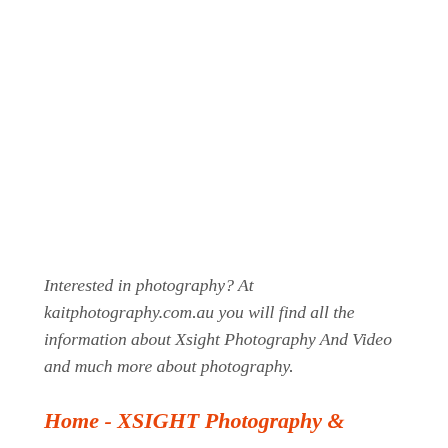Interested in photography? At kaitphotography.com.au you will find all the information about Xsight Photography And Video and much more about photography.
Home - XSIGHT Photography &